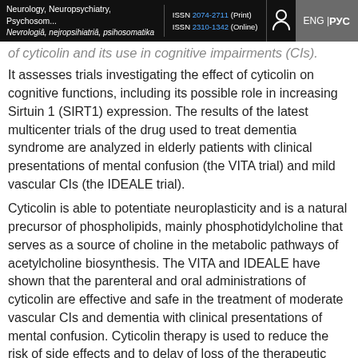Neurology, Neuropsychiatry, Psychosom... | ISSN 2074-2711 (Print) ISSN 2310-1342 (Online) | ENG | РУС
of cyticolin and its use in cognitive impairments (CIs).
It assesses trials investigating the effect of cyticolin on cognitive functions, including its possible role in increasing Sirtuin 1 (SIRT1) expression. The results of the latest multicenter trials of the drug used to treat dementia syndrome are analyzed in elderly patients with clinical presentations of mental confusion (the VITA trial) and mild vascular CIs (the IDEALE trial).
Cyticolin is able to potentiate neuroplasticity and is a natural precursor of phospholipids, mainly phosphotidylcholine that serves as a source of choline in the metabolic pathways of acetylcholine biosynthesis. The VITA and IDEALE have shown that the parenteral and oral administrations of cyticolin are effective and safe in the treatment of moderate vascular CIs and dementia with clinical presentations of mental confusion. Cyticolin therapy is used to reduce the risk of side effects and to delay of loss of the therapeutic effects of levodopa preparations. Cyticolin has been noted to have a positive effect on cognitive functions in patients with Alzheimer's disease if it is used as an additional therapy